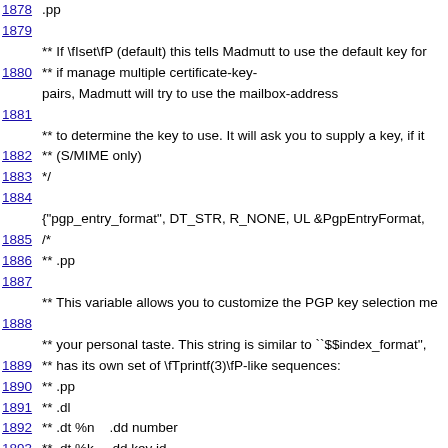1878    .pp
1879
** If \fIset\fP (default) this tells Madmutt to use the default key for
1880    ** if manage multiple certificate-key-pairs, Madmutt will try to use the mailbox-address
1881
** to determine the key to use. It will ask you to supply a key, if it
1882    ** (S/MIME only)
1883    */
1884
{"pgp_entry_format", DT_STR, R_NONE, UL &PgpEntryFormat,
1885    /*
1886    ** .pp
1887
** This variable allows you to customize the PGP key selection me
1888
** your personal taste. This string is similar to ``$$index_format'',
1889    ** has its own set of \fTprintf(3)\fP-like sequences:
1890    ** .pp
1891    ** .dl
1892    ** .dt %n    .dd number
1893    ** .dt %k    .dd key id
1894    ** .dt %u    .dd user id
1895    ** .dt %a    .dd algorithm
1896    ** .dt %l    .dd key length
1897    ** .dt %f    .dd flags